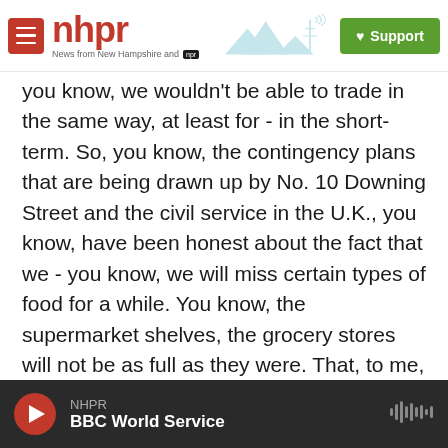[Figure (logo): NHPR (New Hampshire Public Radio) website header with hamburger menu icon, red NHPR logo, mountain/radio tower landscape graphic, and green Support button]
you know, we wouldn't be able to trade in the same way, at least for - in the short-term. So, you know, the contingency plans that are being drawn up by No. 10 Downing Street and the civil service in the U.K., you know, have been honest about the fact that we - you know, we will miss certain types of food for a while. You know, the supermarket shelves, the grocery stores will not be as full as they were. That, to me, seems crazy when you think about, you know, we're the fifth largest economy in the world. And...
GROSS: And not - going without medicine will be
NHPR  BBC World Service